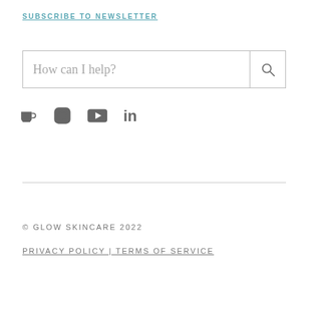SUBSCRIBE TO NEWSLETTER
[Figure (other): Search box with placeholder text 'How can I help?' and a search button with magnifying glass icon]
[Figure (other): Row of social media icons: coffee cup, Instagram, YouTube, LinkedIn]
© GLOW SKINCARE 2022
PRIVACY POLICY | TERMS OF SERVICE